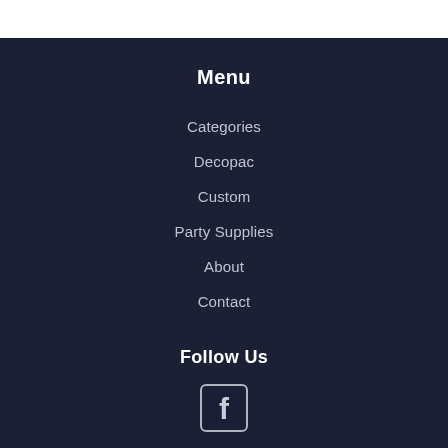Menu
Categories
Decopac
Custom
Party Supplies
About
Contact
Follow Us
[Figure (logo): Facebook icon button]
Newsletter
Sign up for the latest news and offers!